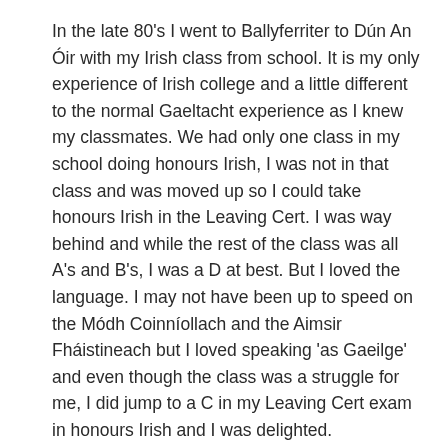In the late 80's I went to Ballyferriter to Dún An Óir with my Irish class from school. It is my only experience of Irish college and a little different to the normal Gaeltacht experience as I knew my classmates. We had only one class in my school doing honours Irish, I was not in that class and was moved up so I could take honours Irish in the Leaving Cert. I was way behind and while the rest of the class was all A's and B's, I was a D at best. But I loved the language. I may not have been up to speed on the Módh Coinníollach and the Aimsir Fháistineach but I loved speaking 'as Gaeilge' and even though the class was a struggle for me, I did jump to a C in my Leaving Cert exam in honours Irish and I was delighted. CONTINUE READING
Posted in Belltable:Connect 10   Tagged Belltable, belltable connect, Lime Tree Theatre, Limerick, Theatre